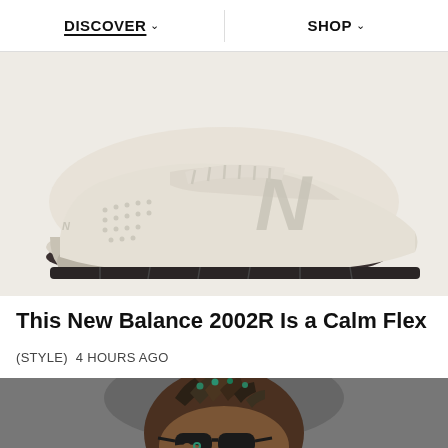DISCOVER  SHOP
[Figure (photo): New Balance 2002R sneaker in cream/off-white colorway on light gray background, side profile view showing the large 'N' logo, perforated toe box, and dark rubber outsole]
This New Balance 2002R Is a Calm Flex
(STYLE)  4 HOURS AGO
[Figure (photo): Person wearing dark sunglasses with braided hair accessories, photographed from chin up against a gray background]